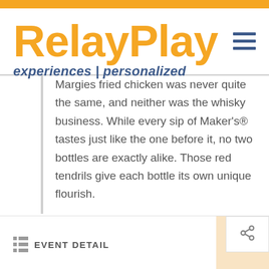RelayPlay
experiences | personalized
Margies fried chicken was never quite the same, and neither was the whisky business. While every sip of Maker's® tastes just like the one before it, no two bottles are exactly alike. Those red tendrils give each bottle its own unique flourish.
EVENT DETAIL